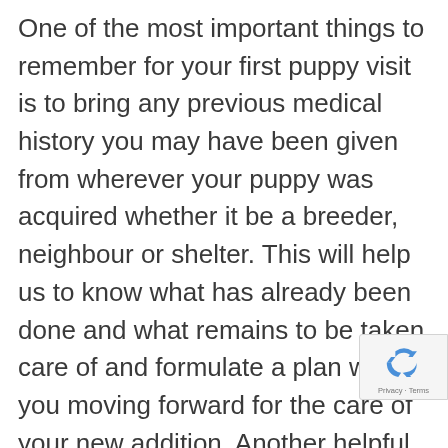One of the most important things to remember for your first puppy visit is to bring any previous medical history you may have been given from wherever your puppy was acquired whether it be a breeder, neighbour or shelter. This will help us to know what has already been done and what remains to be taken care of and formulate a plan with you moving forward for the care of your new addition. Another helpful trick is to bring your puppy a little bit hungry. This allows us to offer lots of treats as rewards and make those first few visits memorable in the eyes of your new puppy and develop a wonderful lasting rapport for man to come. Lastly, for any trip to the veterinaria would always recommend you have your puppy